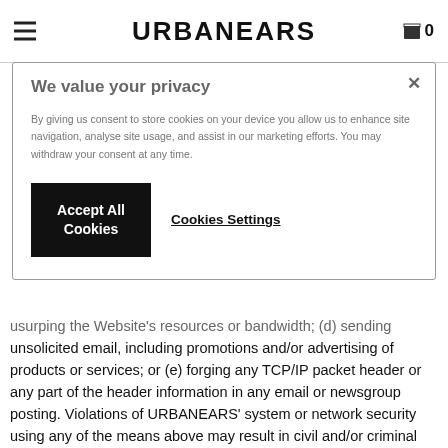URBANEARS
We value your privacy
By giving us consent to store cookies on your device you allow us to enhance site navigation, analyse site usage, and assist in our marketing efforts. You may withdraw your consent at any time.
Accept All Cookies | Cookies Settings
usurping the Website's resources or bandwidth; (d) sending unsolicited email, including promotions and/or advertising of products or services; or (e) forging any TCP/IP packet header or any part of the header information in any email or newsgroup posting. Violations of URBANEARS' system or network security using any of the means above may result in civil and/or criminal liability. URBANEARS will investigate occurrences that may involve such violations and may involve, and cooperate with, law enforcement authorities in prosecuting users who are involved in such violations.